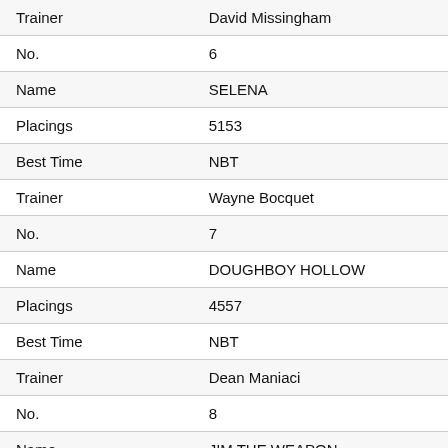| Field | Value |
| --- | --- |
| Trainer | David Missingham |
| No. | 6 |
| Name | SELENA |
| Placings | 5153 |
| Best Time | NBT |
| Trainer | Wayne Bocquet |
| No. | 7 |
| Name | DOUGHBOY HOLLOW |
| Placings | 4557 |
| Best Time | NBT |
| Trainer | Dean Maniaci |
| No. | 8 |
| Name | JIM THE WEAPON |
| Placings | 5348 |
| Best Time | NBT |
| Trainer | Stephen Arnold |
| No. | 9 |